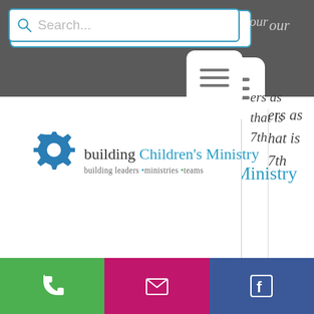[Figure (screenshot): Website screenshot showing a search bar with magnifying glass icon, 'Search...' placeholder text, on a dark grey navigation bar background]
[Figure (logo): Building Children's Ministry logo with gear icon, text 'building Children's Ministry' and tagline 'building leaders ministries teams']
Share your general expectations for middle schoolers who are serving. When you meet with the middle schooler and their parents, have a
[Figure (screenshot): Bottom social bar with phone (green), email (magenta), and Facebook (blue) buttons]